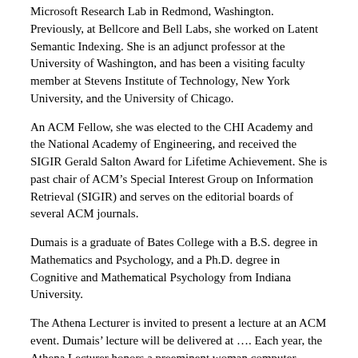Microsoft Research Lab in Redmond, Washington. Previously, at Bellcore and Bell Labs, she worked on Latent Semantic Indexing. She is an adjunct professor at the University of Washington, and has been a visiting faculty member at Stevens Institute of Technology, New York University, and the University of Chicago.
An ACM Fellow, she was elected to the CHI Academy and the National Academy of Engineering, and received the SIGIR Gerald Salton Award for Lifetime Achievement. She is past chair of ACM’s Special Interest Group on Information Retrieval (SIGIR) and serves on the editorial boards of several ACM journals.
Dumais is a graduate of Bates College with a B.S. degree in Mathematics and Psychology, and a Ph.D. degree in Cognitive and Mathematical Psychology from Indiana University.
The Athena Lecturer is invited to present a lecture at an ACM event. Dumais’ lecture will be delivered at …. Each year, the Athena Lecturer honors a preeminent woman computer scientist. Athena is the Greek goddess of wisdom; with her knowledge and sense of purpose, she epitomizes the strength, determination, and intelligence of the “Athena Lecturers.” The 2014-2015 Athena Lecturer award will be presented at the ACM Annual Awards Banquet, June 21, in San Francisco, CA.